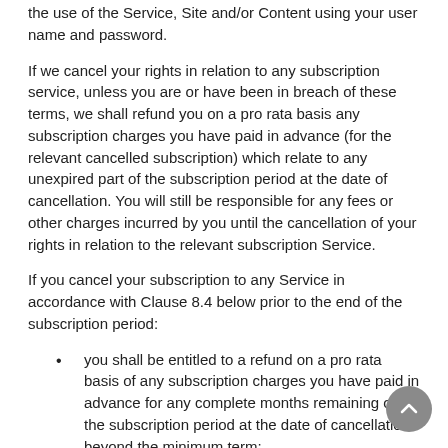the use of the Service, Site and/or Content using your user name and password.
If we cancel your rights in relation to any subscription service, unless you are or have been in breach of these terms, we shall refund you on a pro rata basis any subscription charges you have paid in advance (for the relevant cancelled subscription) which relate to any unexpired part of the subscription period at the date of cancellation. You will still be responsible for any fees or other charges incurred by you until the cancellation of your rights in relation to the relevant subscription Service.
If you cancel your subscription to any Service in accordance with Clause 8.4 below prior to the end of the subscription period:
you shall be entitled to a refund on a pro rata basis of any subscription charges you have paid in advance for any complete months remaining of the subscription period at the date of cancellation beyond the minimum term;
we shall deduct from the refund due an administration fee of US$150; and